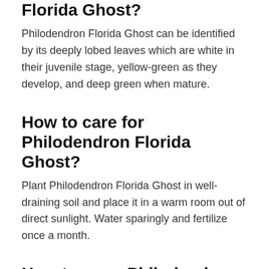Florida Ghost?
Philodendron Florida Ghost can be identified by its deeply lobed leaves which are white in their juvenile stage, yellow-green as they develop, and deep green when mature.
How to care for Philodendron Florida Ghost?
Plant Philodendron Florida Ghost in well-draining soil and place it in a warm room out of direct sunlight. Water sparingly and fertilize once a month.
How to grow Philodendron